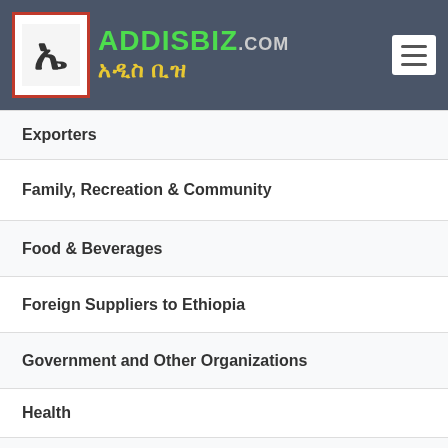ADDISBIZ.COM አዲስ ቢዝ
Exporters
Family, Recreation & Community
Food & Beverages
Foreign Suppliers to Ethiopia
Government and Other Organizations
Health
Hospitality
Importers
Information Technology